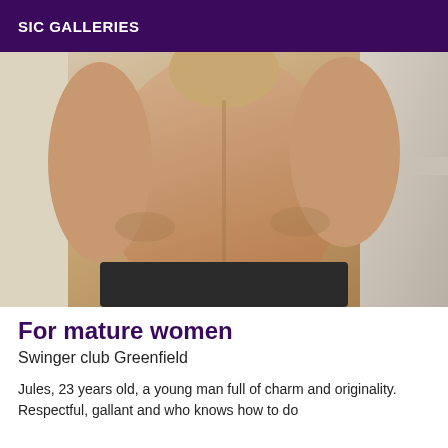SIC GALLERIES
[Figure (photo): A person photographed from behind, showing their bare back and upper body, wearing dark shorts/underwear. The background is a plain light-colored wall.]
For mature women
Swinger club Greenfield
Jules, 23 years old, a young man full of charm and originality. Respectful, gallant and who knows how to do